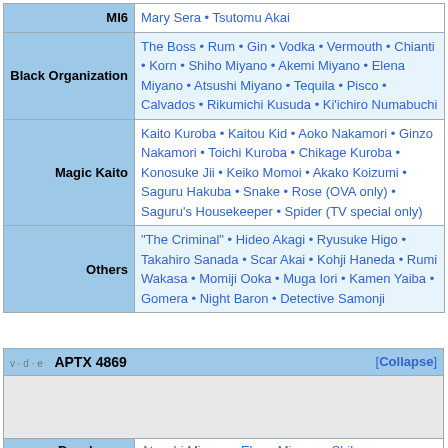| Category | Subcategory | Members |
| --- | --- | --- |
|  | MI6 | Mary Sera • Tsutomu Akai |
|  | Black Organization | The Boss • Rum • Gin • Vodka • Vermouth • Chianti • Korn • Shiho Miyano • Akemi Miyano • Elena Miyano • Atsushi Miyano • Tequila • Pisco • Calvados • Rikumichi Kusuda • Ki'ichiro Numabuchi |
|  | Magic Kaito | Kaito Kuroba • Kaitou Kid • Aoko Nakamori • Ginzo Nakamori • Toichi Kuroba • Chikage Kuroba • Konosuke Jii • Keiko Momoi • Akako Koizumi • Saguru Hakuba • Snake • Rose (OVA only) • Saguru's Housekeeper • Spider (TV special only) |
|  | Others | "The Criminal" • Hideo Akagi • Ryusuke Higo • Takahiro Sanada • Scar Akai • Kohji Haneda • Rumi Wakasa • Momiji Ooka • Muga Iori • Kamen Yaiba • Gomera • Night Baron • Detective Samonji |
| v·d·e | APTX 4869 | [Collapse] |
| --- | --- | --- |
| Developers | Atsushi Miyano • Elena Miyano • Shiho |  |